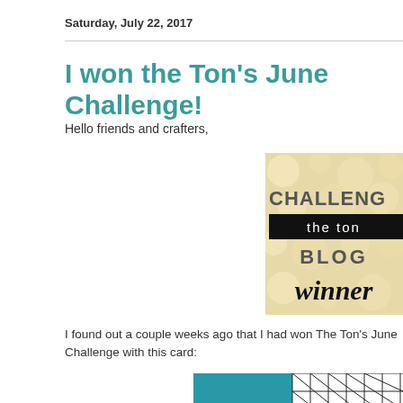Saturday, July 22, 2017
I won the Ton's June Challenge!
Hello friends and crafters,
[Figure (photo): Challenge the ton Blog winner badge — cream/gold bokeh background with large text reading CHALLENGE, the ton, BLOG, winner in black script]
I found out a couple weeks ago that I had won The Ton's June Challenge with this card:
[Figure (photo): Partial view of a handmade card with teal background, black and white geometric lattice pattern, and floral stamps with teal colored flowers]